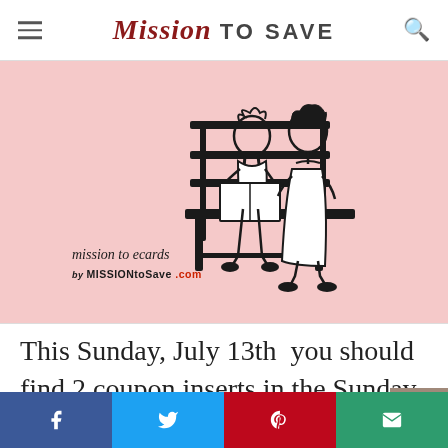Mission TO SAVE
[Figure (illustration): Pink background ecard illustration showing two women sitting on a bench reading a book together, with text 'mission to ecards by MISSIONtoSave.com' in lower left]
This Sunday, July 13th  you should find 2 coupon inserts in the Sunday paper.  Look for